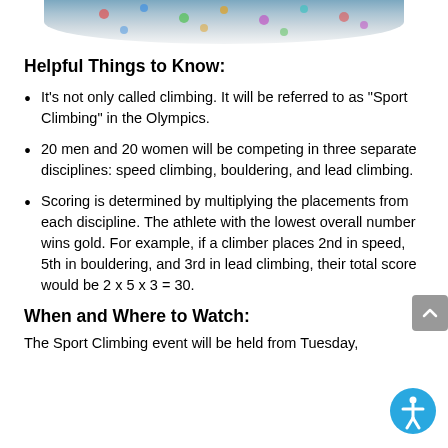[Figure (photo): Cropped bottom portion of a photo showing a climbing wall with colorful holds, partially visible at the top of the page.]
Helpful Things to Know:
It’s not only called climbing. It will be referred to as “Sport Climbing” in the Olympics.
20 men and 20 women will be competing in three separate disciplines: speed climbing, bouldering, and lead climbing.
Scoring is determined by multiplying the placements from each discipline. The athlete with the lowest overall number wins gold. For example, if a climber places 2nd in speed, 5th in bouldering, and 3rd in lead climbing, their total score would be 2 x 5 x 3 = 30.
When and Where to Watch:
The Sport Climbing event will be held from Tuesday,